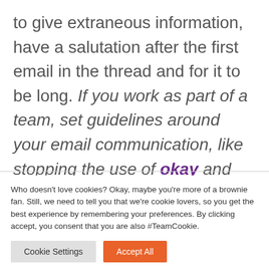to give extraneous information, have a salutation after the first email in the thread and for it to be long. If you work as part of a team, set guidelines around your email communication, like stopping the use of okay and thanks as acknowledgements.
Who doesn't love cookies? Okay, maybe you're more of a brownie fan. Still, we need to tell you that we're cookie lovers, so you get the best experience by remembering your preferences. By clicking accept, you consent that you are also #TeamCookie.